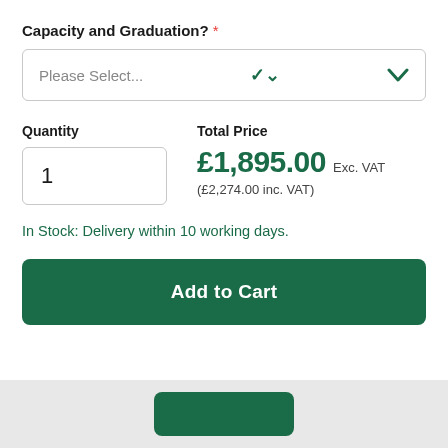Capacity and Graduation? *
Please Select...
Quantity
1
Total Price
£1,895.00 Exc. VAT
(£2,274.00 inc. VAT)
In Stock: Delivery within 10 working days.
Add to Cart